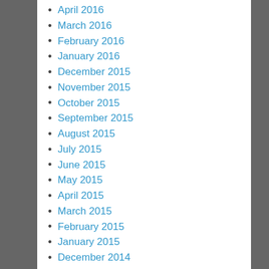April 2016
March 2016
February 2016
January 2016
December 2015
November 2015
October 2015
September 2015
August 2015
July 2015
June 2015
May 2015
April 2015
March 2015
February 2015
January 2015
December 2014
November 2014
October 2014
September 2014
August 2014
July 2014